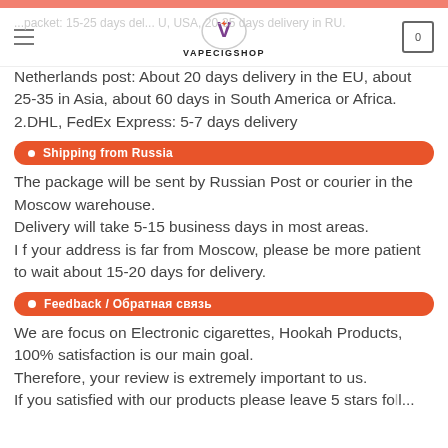VAPECIGSHOP
Netherlands post: About 20 days delivery in the EU, about 25-35 in Asia, about 60 days in South America or Africa.
2.DHL, FedEx Express: 5-7 days delivery
Shipping from Russia
The package will be sent by Russian Post or courier in the Moscow warehouse.
Delivery will take 5-15 business days in most areas.
I f your address is far from Moscow, please be more patient to wait about 15-20 days for delivery.
Feedback / Обратная связь
We are focus on Electronic cigarettes, Hookah Products, 100% satisfaction is our main goal.
Therefore, your review is extremely important to us.
If you satisfied with our products please leave 5 stars feedback...